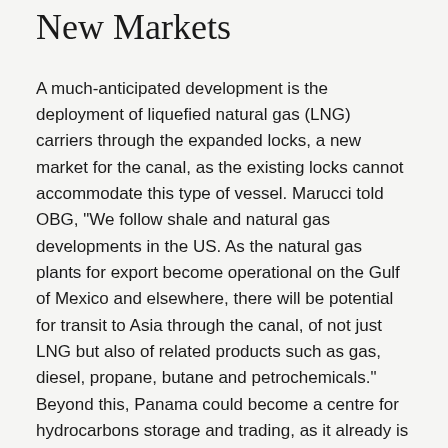New Markets
A much-anticipated development is the deployment of liquefied natural gas (LNG) carriers through the expanded locks, a new market for the canal, as the existing locks cannot accommodate this type of vessel. Marucci told OBG, “We follow shale and natural gas developments in the US. As the natural gas plants for export become operational on the Gulf of Mexico and elsewhere, there will be potential for transit to Asia through the canal, of not just LNG but also of related products such as gas, diesel, propane, butane and petrochemicals.” Beyond this, Panama could become a centre for hydrocarbons storage and trading, as it already is for other commodities.
Bigger & Bigger
As the international community awaits the opening of the third lane, engineers are already studying the feasibility of building a new set of locks that will enable the transit of even bigger ships, according to the ACP. Marucci told OBG, “We face increasing competition from many angles. It’s a very competitive sector, in